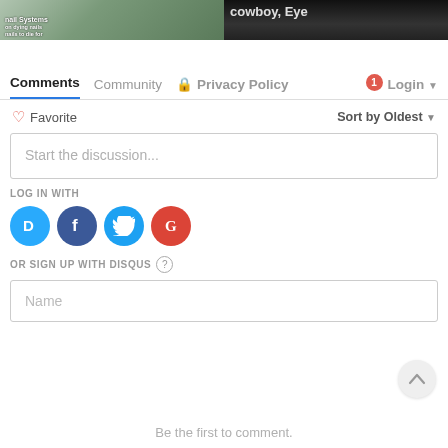[Figure (photo): Partial thumbnail images of magazine/blog content at top of page]
Comments   Community   Privacy Policy   Login
♡ Favorite    Sort by Oldest ▾
Start the discussion...
LOG IN WITH
[Figure (logo): Disqus, Facebook, Twitter, Google social login icons]
OR SIGN UP WITH DISQUS ?
Name
Be the first to comment.